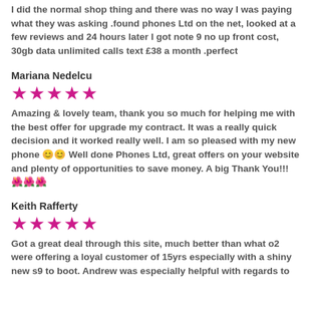I did the normal shop thing and there was no way I was paying what they was asking .found phones Ltd on the net, looked at a few reviews and 24 hours later I got note 9 no up front cost, 30gb data unlimited calls text £38 a month .perfect
Mariana Nedelcu
[Figure (other): 5 pink/magenta star rating icons]
Amazing & lovely team, thank you so much for helping me with the best offer for upgrade my contract. It was a really quick decision and it worked really well. I am so pleased with my new phone 😊😊 Well done Phones Ltd, great offers on your website and plenty of opportunities to save money. A big Thank You!!! 🌺🌺🌺
Keith Rafferty
[Figure (other): 5 pink/magenta star rating icons]
Got a great deal through this site, much better than what o2 were offering a loyal customer of 15yrs especially with a shiny new s9 to boot. Andrew was especially helpful with regards to